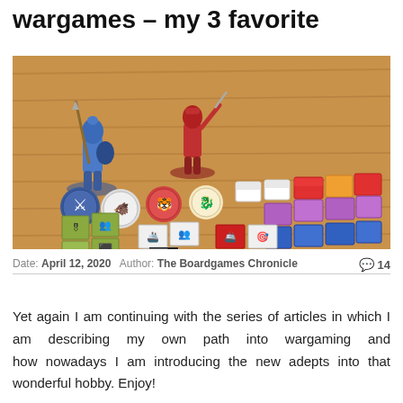wargames – my 3 favorite
[Figure (photo): Photograph of wargame components on a wooden table: two plastic miniature soldiers (blue and red), several circular tokens with game art, small square cardboard tiles with military symbols, and colorful card tiles arranged in rows.]
Date: April 12, 2020   Author: The Boardgames Chronicle   💬 14
Yet again I am continuing with the series of articles in which I am describing my own path into wargaming and how nowadays I am introducing the new adepts into that wonderful hobby. Enjoy!